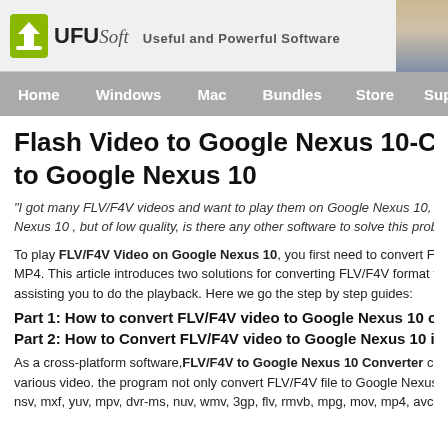UFUSoft - Useful and Powerful Software | Home | Windows | Mac | Bundles | Store | Support
Flash Video to Google Nexus 10-Convert/M... to Google Nexus 10
"I got many FLV/F4V videos and want to play them on Google Nexus 10, tried m... Nexus 10 , but of low quality, is there any other software to solve this problem a..."
To play FLV/F4V Video on Google Nexus 10, you first need to convert FLV/F... MP4. This article introduces two solutions for converting FLV/F4V format to ... assisting you to do the playback. Here we go the step by step guides:
Part 1: How to convert FLV/F4V video to Google Nexus 10 on M...
Part 2: How to Convert FLV/F4V video to Google Nexus 10 in W...
As a cross-platform software,FLV/F4V to Google Nexus 10 Converter can b... various video. the program not only convert FLV/F4V file to Google Nexus 10, b... nsv, mxf, yuv, mpv, dvr-ms, nuv, wmv, 3gp, flv, rmvb, mpg, mov, mp4, avchd...